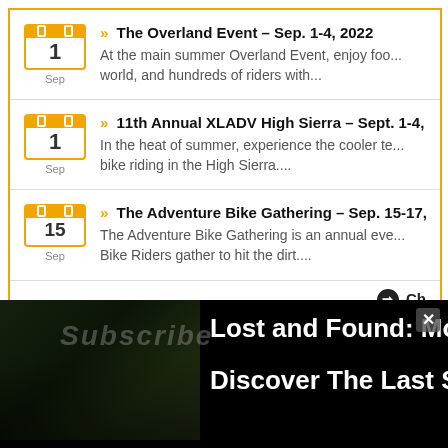The Overland Event – Sep. 1-4, 2022 | At the main summer Overland Event, enjoy foo... world, and hundreds of riders with...
11th Annual XLADV High Sierra – Sept. 1-4, | In the heat of summer, experience the cooler te... bike riding in the High Sierra....
The Adventure Bike Gathering – Sep. 15-17, | The Adventure Bike Gathering is an annual eve... Bike Riders gather to hit the dirt....
Ch...
[Figure (screenshot): Bottom advertisement banner with dark background showing a photo of trees/trail and text: 'Lost and Found: Moto Ex... Discover The Last Si...' with subscribe text overlay and close button]